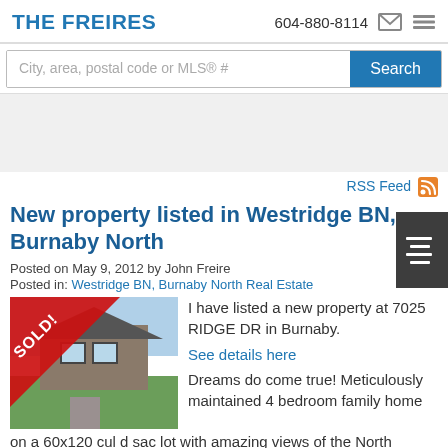THE FREIRES | 604-880-8114
City, area, postal code or MLS® #
RSS Feed
New property listed in Westridge BN, Burnaby North
Posted on May 9, 2012 by John Freire
Posted in: Westridge BN, Burnaby North Real Estate
[Figure (photo): House photo with SOLD! diagonal ribbon banner]
I have listed a new property at 7025 RIDGE DR in Burnaby.
See details here
Dreams do come true! Meticulously maintained 4 bedroom family home on a 60x120 cul d sac lot with amazing views of the North